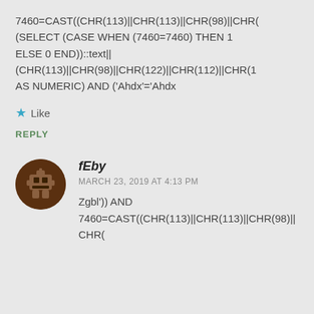7460=CAST((CHR(113)||CHR(113)||CHR(98)||CHR( (SELECT (CASE WHEN (7460=7460) THEN 1 ELSE 0 END))::text|| (CHR(113)||CHR(98)||CHR(122)||CHR(112)||CHR(1 AS NUMERIC) AND ('Ahdx'='Ahdx
Like
REPLY
fEby
MARCH 23, 2019 AT 4:13 PM
Zgbl')) AND 7460=CAST((CHR(113)||CHR(113)||CHR(98)||CHR(